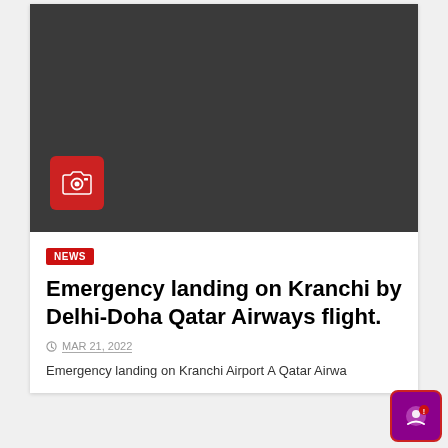[Figure (photo): Dark/black image placeholder with a red camera icon in the lower-left area]
NEWS
Emergency landing on Kranchi by Delhi-Doha Qatar Airways flight.
MAR 21, 2022
Emergency landing on Kranchi Airport A Qatar Airwa